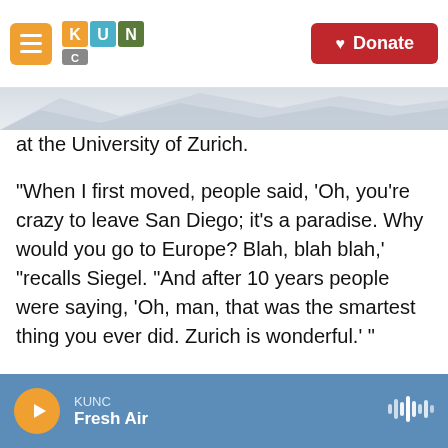KUNC | Donate
at the University of Zurich.
"When I first moved, people said, 'Oh, you're crazy to leave San Diego; it's a paradise. Why would you go to Europe? Blah, blah blah,' "recalls Siegel. "And after 10 years people were saying, 'Oh, man, that was the smartest thing you ever did. Zurich is wonderful.' "
Then he told his friends he was moving to China. "And again, people said 'What? Are you crazy?' " Siegel says. But he thinks they'll soon realize he again made the smart choice.
KUNC — Fresh Air